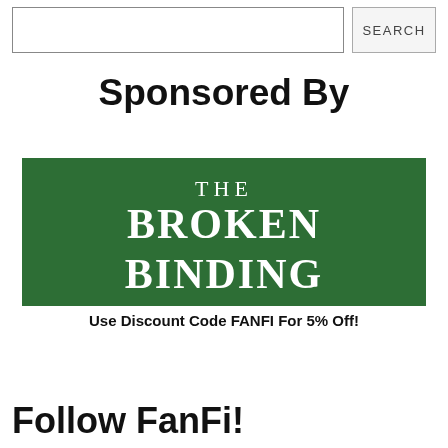[Figure (other): Search bar with text input field and SEARCH button]
Sponsored By
[Figure (logo): The Broken Binding logo — white serif text on dark green background reading: THE BROKEN BINDING]
Use Discount Code FANFI For 5% Off!
Follow FanFi!